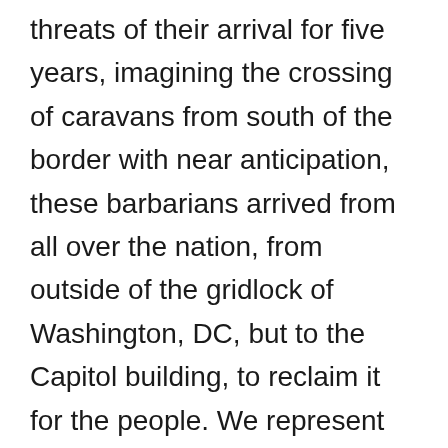threats of their arrival for five years, imagining the crossing of caravans from south of the border with near anticipation, these barbarians arrived from all over the nation, from outside of the gridlock of Washington, DC, but to the Capitol building, to reclaim it for the people. We represent by flared arrows the arrival of marchers who left the Stop the Steal Rally, the rally that promised to Save America, combining the craziness of hellfire preachers promising redemption and national will, as if to render it reborn by going back in time and undoing the election, as Inauguration Day